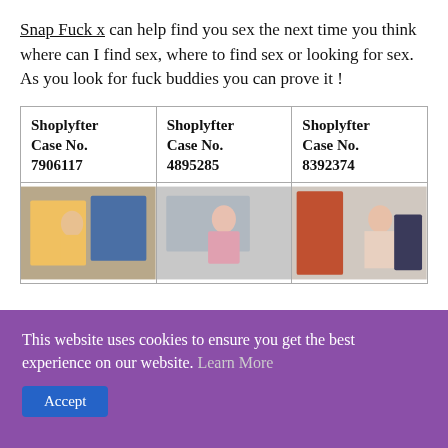Snap Fuck x can help find you sex the next time you think where can I find sex, where to find sex or looking for sex. As you look for fuck buddies you can prove it !
| Shoplyfter Case No. 7906117 | Shoplyfter Case No. 4895285 | Shoplyfter Case No. 8392374 |
| --- | --- | --- |
| [image] | [image] | [image] |
This website uses cookies to ensure you get the best experience on our website. Learn More Accept